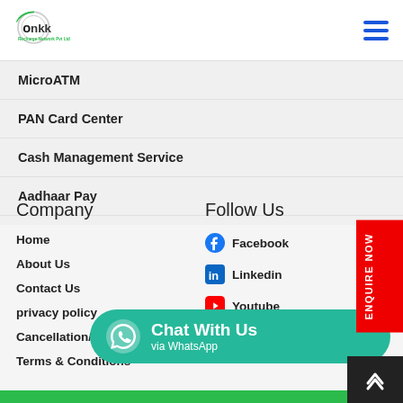[Figure (logo): Onkk Recharge Network Pvt Ltd logo - circular icon with 'onkk' text and company name below]
MicroATM
PAN Card Center
Cash Management Service
Aadhaar Pay
Company
Follow Us
Home
About Us
Contact Us
privacy policy
Cancellation/Refund policy
Terms & Conditions
Facebook
Linkedin
Youtube
[Figure (infographic): Chat With Us via WhatsApp green button with WhatsApp icon]
ENQUIRE NOW